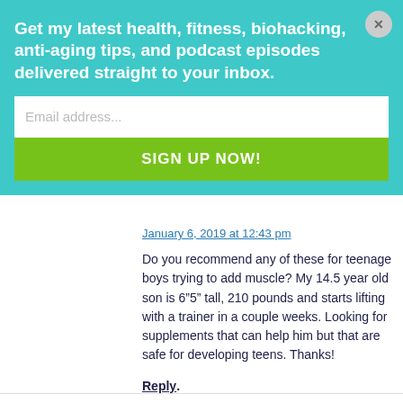Get my latest health, fitness, biohacking, anti-aging tips, and podcast episodes delivered straight to your inbox.
Email address...
SIGN UP NOW!
January 6, 2019 at 12:43 pm
Do you recommend any of these for teenage boys trying to add muscle? My 14.5 year old son is 6”5” tall, 210 pounds and starts lifting with a trainer in a couple weeks. Looking for supplements that can help him but that are safe for developing teens. Thanks!
Reply